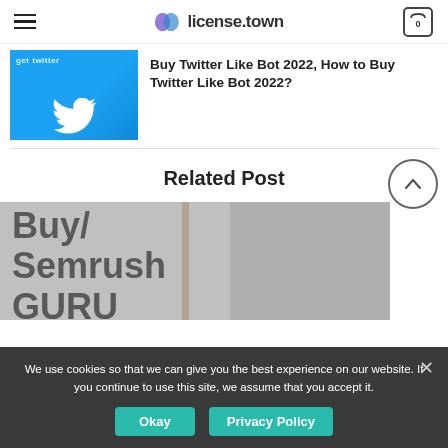license.town
[Figure (photo): Twitter logo on blue background with 'get twitter' text overlay]
Buy Twitter Like Bot 2022, How to Buy Twitter Like Bot 2022?
Related Post
[Figure (photo): Buy Semrush GURU text on grey background]
We use cookies so that we can give you the best experience on our website. If you continue to use this site, we assume that you accept it.